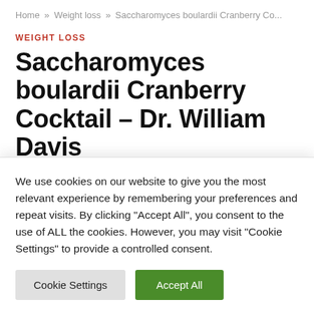Home » Weight loss » Saccharomyces boulardii Cranberry Co...
WEIGHT LOSS
Saccharomyces boulardii Cranberry Cocktail – Dr. William Davis
By fitsavers- · January 25, 2022  No Comments
4 Mins Read
We use cookies on our website to give you the most relevant experience by remembering your preferences and repeat visits. By clicking "Accept All", you consent to the use of ALL the cookies. However, you may visit "Cookie Settings" to provide a controlled consent.